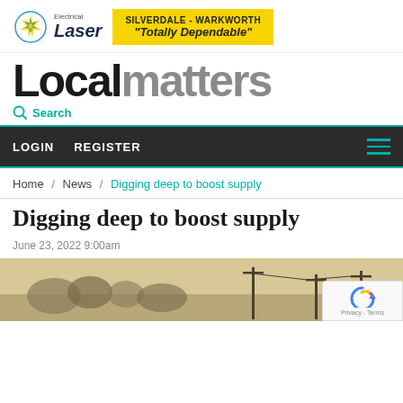[Figure (logo): Laser Electrical logo with blue star and text, next to yellow banner reading SILVERDALE - WARKWORTH Totally Dependable]
Localmatters
Search
LOGIN   REGISTER
Home / News / Digging deep to boost supply
Digging deep to boost supply
June 23, 2022 9:00am
[Figure (photo): Historical black and white photo showing electrical poles and infrastructure in a landscape]